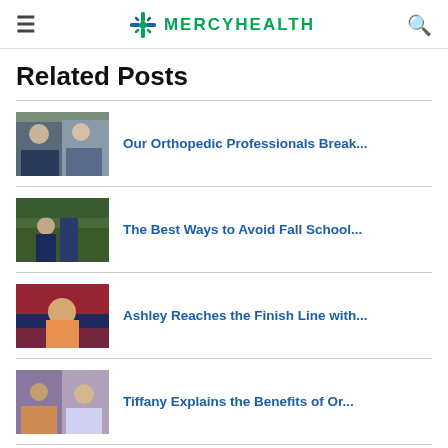MERCYHEALTH
Related Posts
Our Orthopedic Professionals Break...
The Best Ways to Avoid Fall School...
Ashley Reaches the Finish Line with...
Tiffany Explains the Benefits of Or...
Leave A Comment